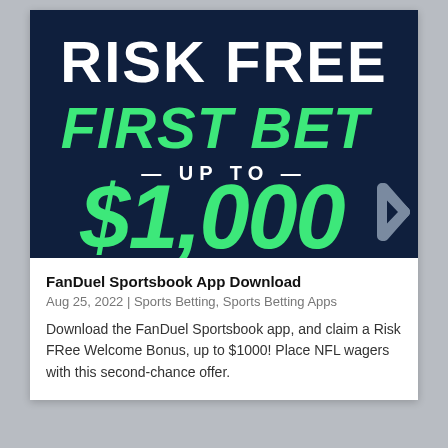[Figure (illustration): FanDuel Sportsbook promotional banner on dark navy background. Large bold white text reads 'RISK FREE', below that large bold green italic text reads 'FIRST BET', then white text with dashes reads '— UP TO —', then very large bold green text reads '$1,000'. A grey right-arrow chevron appears at the bottom right corner.]
FanDuel Sportsbook App Download
Aug 25, 2022 | Sports Betting, Sports Betting Apps
Download the FanDuel Sportsbook app, and claim a Risk FRee Welcome Bonus, up to $1000! Place NFL wagers with this second-chance offer.